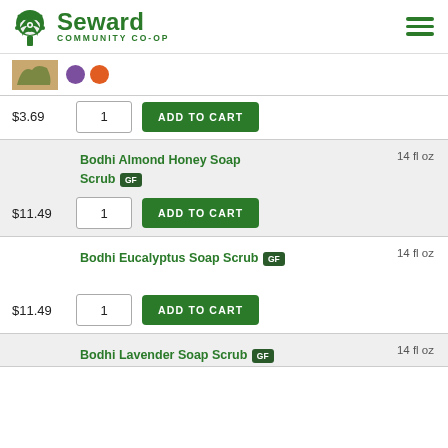Seward Community Co-op
$3.69 | 1 | ADD TO CART
Bodhi Almond Honey Soap Scrub | GF | 14 fl oz
$11.49 | 1 | ADD TO CART
Bodhi Eucalyptus Soap Scrub | GF | 14 fl oz
$11.49 | 1 | ADD TO CART
Bodhi Lavender Soap Scrub | 14 fl oz